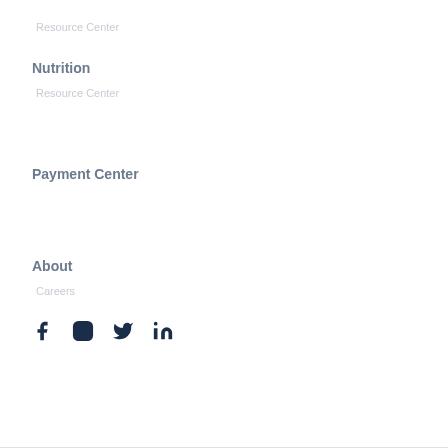Resource Center
Nutrition
Resource Center
Payment Center
About
Careers
[Figure (illustration): Social media icons: Facebook, Instagram, Twitter, LinkedIn]